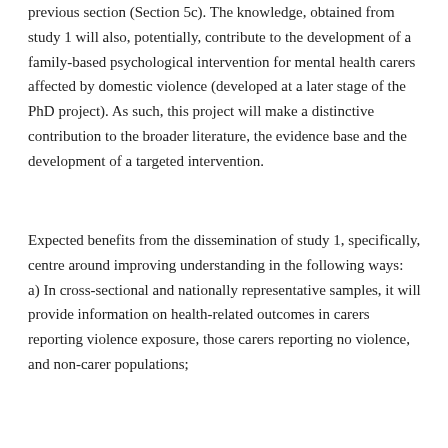previous section (Section 5c). The knowledge, obtained from study 1 will also, potentially, contribute to the development of a family-based psychological intervention for mental health carers affected by domestic violence (developed at a later stage of the PhD project). As such, this project will make a distinctive contribution to the broader literature, the evidence base and the development of a targeted intervention.
Expected benefits from the dissemination of study 1, specifically, centre around improving understanding in the following ways: a) In cross-sectional and nationally representative samples, it will provide information on health-related outcomes in carers reporting violence exposure, those carers reporting no violence, and non-carer populations;